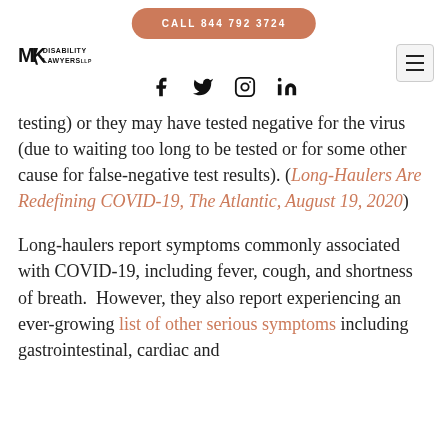CALL 844 792 3724 | MK Disability Lawyers
testing) or they may have tested negative for the virus (due to waiting too long to be tested or for some other cause for false-negative test results). (Long-Haulers Are Redefining COVID-19, The Atlantic, August 19, 2020)
Long-haulers report symptoms commonly associated with COVID-19, including fever, cough, and shortness of breath. However, they also report experiencing an ever-growing list of other serious symptoms including gastrointestinal, cardiac and